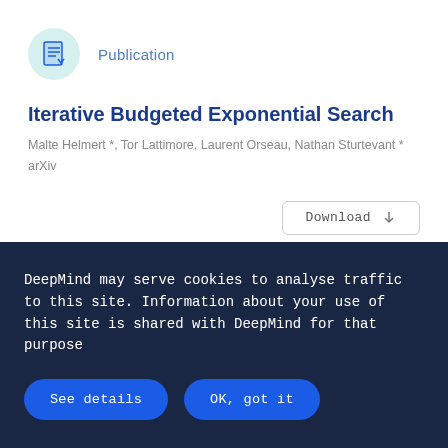Publication
Iterative Budgeted Exponential Search
Malte Helmert *, Tor Lattimore, Laurent Orseau, Nathan Sturtevant *
arXiv
Download
Publication
DeepMind may serve cookies to analyse traffic to this site. Information about your use of this site is shared with DeepMind for that purpose
See details
OK, got it